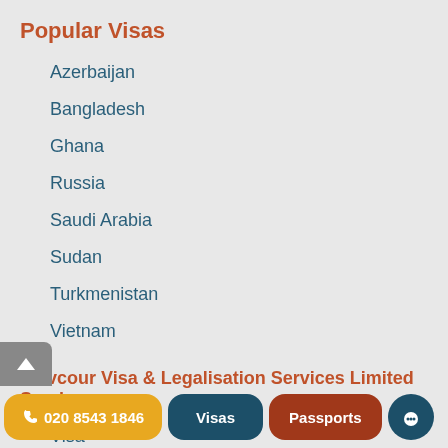Popular Visas
Azerbaijan
Bangladesh
Ghana
Russia
Saudi Arabia
Sudan
Turkmenistan
Vietnam
Travcour Visa & Legalisation Services Limited Services
Visa
Passport Service
Consular Closures
Legalisations
020 8543 1846  |  Visas  |  Passports